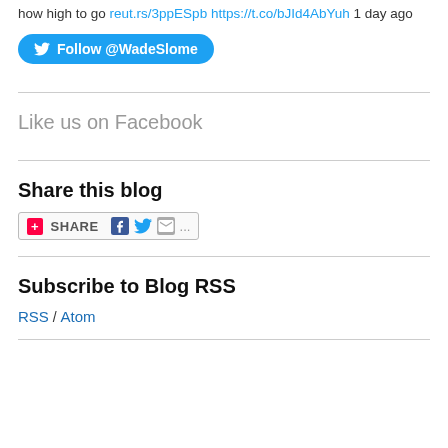RT @Reuters: Fed officials united on need to hike rates, divided over how high to go reut.rs/3ppESpb https://t.co/bJId4AbYuh 1 day ago
[Figure (other): Twitter Follow button for @WadeSlome]
Like us on Facebook
Share this blog
[Figure (other): Share button widget with Facebook, Twitter, and email icons]
Subscribe to Blog RSS
RSS / Atom